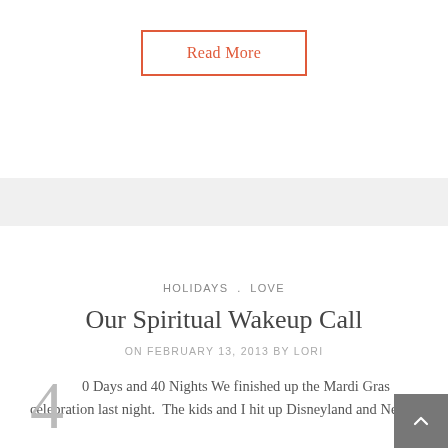Read More
HOLIDAYS . LOVE
Our Spiritual Wakeup Call
ON FEBRUARY 13, 2013 BY LORI
4  0 Days and 40 Nights We finished up the Mardi Gras celebration last night.  The kids and I hit up Disneyland and New